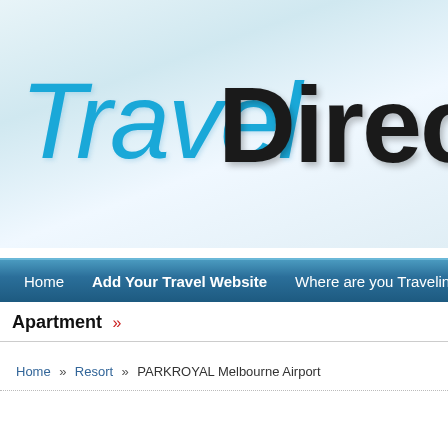[Figure (logo): Travel Direct logo banner with light blue gradient background. 'Travel' written in cursive/script style in bright blue, 'Direc' (truncated) in bold black sans-serif. Logo partially cut off on right side.]
Home  Add Your Travel Website  Where are you Traveling?
Apartment »
Home » Resort » PARKROYAL Melbourne Airport